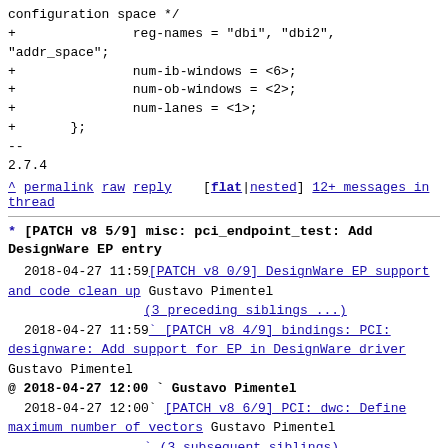configuration space */
+               reg-names = "dbi", "dbi2",
"addr_space";
+               num-ib-windows = <6>;
+               num-ob-windows = <2>;
+               num-lanes = <1>;
+       };
--
2.7.4
^ permalink raw reply [flat|nested] 12+ messages in thread
* [PATCH v8 5/9] misc: pci_endpoint_test: Add DesignWare EP entry
  2018-04-27 11:59 [PATCH v8 0/9] DesignWare EP support and code clean up Gustavo Pimentel
                   (3 preceding siblings ...)
  2018-04-27 11:59 [PATCH v8 4/9] bindings: PCI: designware: Add support for EP in DesignWare driver Gustavo Pimentel
@ 2018-04-27 12:00 Gustavo Pimentel
  2018-04-27 12:00 [PATCH v8 6/9] PCI: dwc: Define maximum number of vectors Gustavo Pimentel
                   (3 subsequent siblings)
  8 siblings, 0 replies; 12+ messages in thread
From: Gustavo Pimentel @ 2018-04-27 12:00 UTC (permalink / raw)
  To: bhelgaas, lorenzo.pieralisi, Joao.Pinto,
jingoohan1, kishon